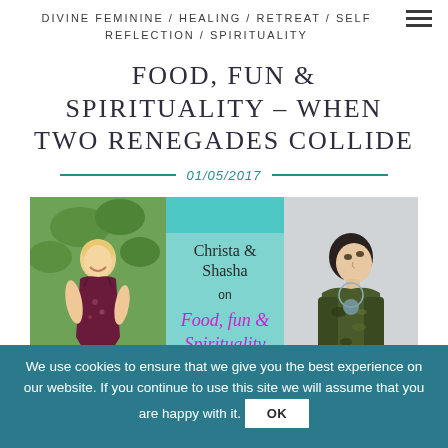DIVINE FEMININE / HEALING / RETREAT / SELF REFLECTION / SPIRITUALITY
FOOD, FUN & SPIRITUALITY – WHEN TWO RENEGADES COLLIDE
01/05/2017
[Figure (photo): Composite blog post image showing two women and a styled text overlay reading 'Christa & Shasha on Food, fun & Spirituality' on a teal background]
We use cookies to ensure that we give you the best experience on our website. If you continue to use this site we will assume that you are happy with it. OK